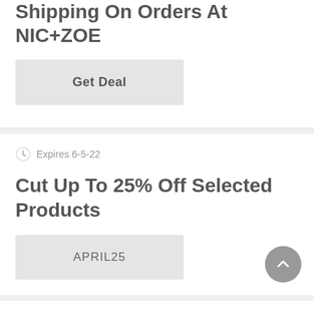Shipping On Orders At NIC+ZOE
Get Deal
Expires 6-5-22
Cut Up To 25% Off Selected Products
APRIL25
Expires 22-3-22
Cut Up To 30% Off Selected...